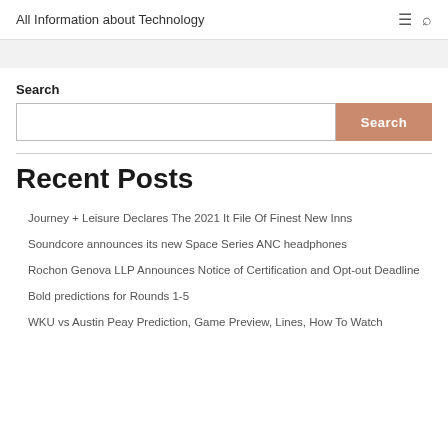All Information about Technology
Search
Recent Posts
Journey + Leisure Declares The 2021 It File Of Finest New Inns
Soundcore announces its new Space Series ANC headphones
Rochon Genova LLP Announces Notice of Certification and Opt-out Deadline
Bold predictions for Rounds 1-5
WKU vs Austin Peay Prediction, Game Preview, Lines, How To Watch